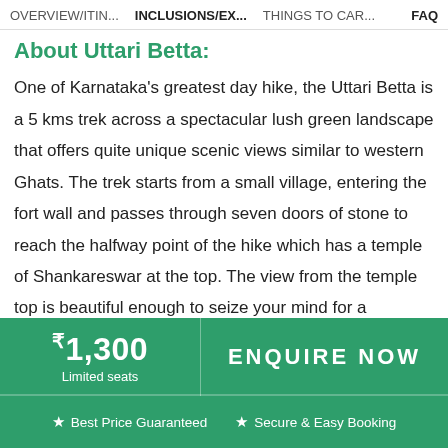OVERVIEW/ITIN...  INCLUSIONS/EX...  THINGS TO CAR...  FAQ
About Uttari Betta:
One of Karnataka's greatest day hike, the Uttari Betta is a 5 kms trek across a spectacular lush green landscape that offers quite unique scenic views similar to western Ghats. The trek starts from a small village, entering the fort wall and passes through seven doors of stone to reach the halfway point of the hike which has a temple of Shankareswar at the top. The view from the temple top is beautiful enough to seize your mind for a moment. Once we cross the temple, the
₹1,300
Limited seats
ENQUIRE NOW
★ Best Price Guaranteed  ★ Secure & Easy Booking